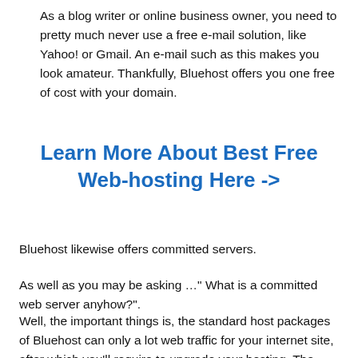As a blog writer or online business owner, you need to pretty much never use a free e-mail solution, like Yahoo! or Gmail. An e-mail such as this makes you look amateur. Thankfully, Bluehost offers you one free of cost with your domain.
Learn More About Best Free Web-hosting Here ->
Bluehost likewise offers committed servers.
As well as you may be asking …" What is a committed web server anyhow?".
Well, the important things is, the standard host packages of Bluehost can only a lot web traffic for your internet site, after which you'll require to upgrade your hosting. The reason being